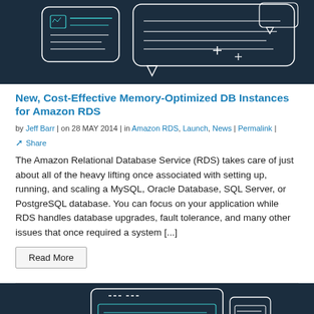[Figure (illustration): Dark navy background with abstract line art: chat/document bubble icons with lines, plus/crosshair symbols in teal and white]
New, Cost-Effective Memory-Optimized DB Instances for Amazon RDS
by Jeff Barr | on 28 MAY 2014 | in Amazon RDS, Launch, News | Permalink |
Share
The Amazon Relational Database Service (RDS) takes care of just about all of the heavy lifting once associated with setting up, running, and scaling a MySQL, Oracle Database, SQL Server, or PostgreSQL database. You can focus on your application while RDS handles database upgrades, fault tolerance, and many other issues that once required a system [...]
Read More
[Figure (illustration): Dark navy background with abstract line art: mobile device/tablet interface outlines with teal accent lines and plus symbols]